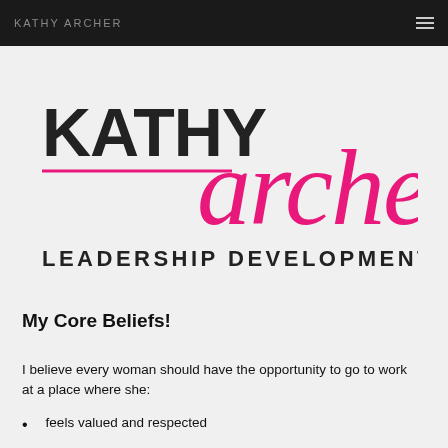KATHY ARCHER
[Figure (logo): Kathy Archer Leadership Development Coach logo with large bold KATHY text, script archer text in pink/magenta, pink underline, and LEADERSHIP DEVELOPMENT COACH subtitle]
My Core Beliefs!
I believe every woman should have the opportunity to go to work at a place where she:
feels valued and respected